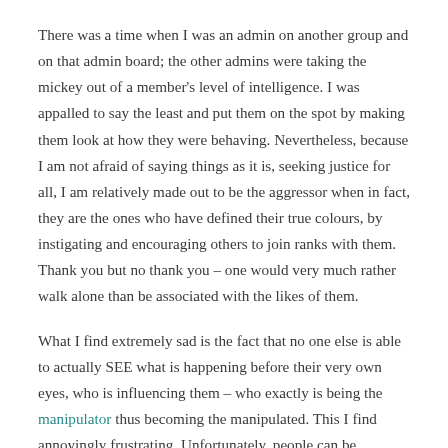There was a time when I was an admin on another group and on that admin board; the other admins were taking the mickey out of a member's level of intelligence. I was appalled to say the least and put them on the spot by making them look at how they were behaving. Nevertheless, because I am not afraid of saying things as it is, seeking justice for all, I am relatively made out to be the aggressor when in fact, they are the ones who have defined their true colours, by instigating and encouraging others to join ranks with them. Thank you but no thank you – one would very much rather walk alone than be associated with the likes of them.
What I find extremely sad is the fact that no one else is able to actually SEE what is happening before their very own eyes, who is influencing them – who exactly is being the manipulator thus becoming the manipulated. This I find annoyingly frustrating. Unfortunately, people can be